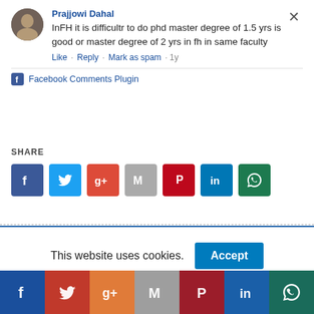Prajjowi Dahal — InFH it is difficultr to do phd master degree of 1.5 yrs is good or master degree of 2 yrs in fh in same faculty
Like · Reply · Mark as spam · 1y
Facebook Comments Plugin
SHARE
[Figure (infographic): Row of social share icon buttons: Facebook, Twitter, Google+, Gmail, Pinterest, LinkedIn, WhatsApp]
This website uses cookies.
Accept
[Figure (infographic): Footer bar with social media icons: Facebook, Twitter, Google+, Gmail, Pinterest, LinkedIn, WhatsApp]